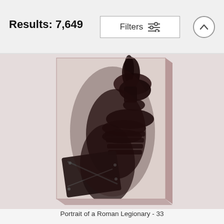Results: 7,649
Filters
[Figure (photo): Canvas print showing a dramatic dark illustration of a Roman Legionary soldier in profile, wearing helmet with crest and armor, holding a shield, on a pale pink/beige background. The image is rendered on a canvas with visible side edges giving a 3D effect.]
Portrait of a Roman Legionary - 33